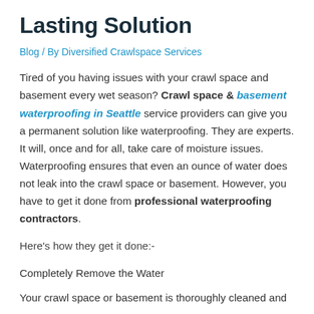Lasting Solution
Blog / By Diversified Crawlspace Services
Tired of you having issues with your crawl space and basement every wet season? Crawl space & basement waterproofing in Seattle service providers can give you a permanent solution like waterproofing. They are experts. It will, once and for all, take care of moisture issues. Waterproofing ensures that even an ounce of water does not leak into the crawl space or basement. However, you have to get it done from professional waterproofing contractors.
Here's how they get it done:-
Completely Remove the Water
Your crawl space or basement is thoroughly cleaned and